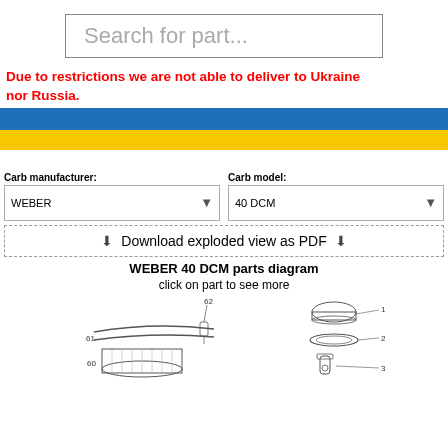Search for part...
Due to restrictions we are not able to deliver to Ukraine nor Russia.
[Figure (illustration): Ukrainian flag: horizontal blue and yellow stripes]
Carb manufacturer: WEBER | Carb model: 40 DCM
Download exploded view as PDF
WEBER 40 DCM parts diagram
click on part to see more
[Figure (engineering-diagram): WEBER 40 DCM carburetor exploded parts diagram showing numbered components (1, 2, 3, 60, 61, 62) with illustrations of parts including filter bowl, clips, and other carburetor components]